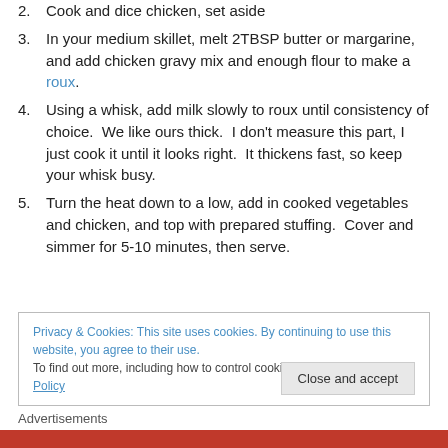2. Cook and dice chicken, set aside
3. In your medium skillet, melt 2TBSP butter or margarine, and add chicken gravy mix and enough flour to make a roux.
4. Using a whisk, add milk slowly to roux until consistency of choice.  We like ours thick.  I don't measure this part, I just cook it until it looks right.  It thickens fast, so keep your whisk busy.
5. Turn the heat down to a low, add in cooked vegetables and chicken, and top with prepared stuffing.  Cover and simmer for 5-10 minutes, then serve.
Privacy & Cookies: This site uses cookies. By continuing to use this website, you agree to their use.
To find out more, including how to control cookies, see here: Cookie Policy
Close and accept
Advertisements